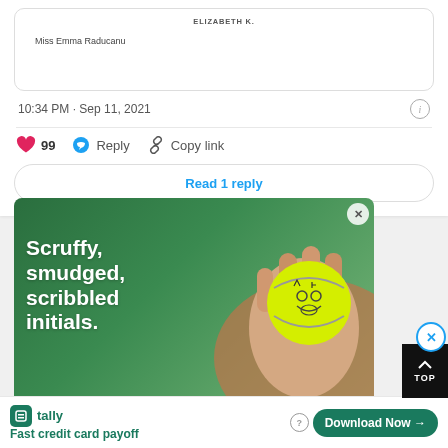[Figure (screenshot): Tweet card stub showing 'ELIZABETH K.' and 'Miss Emma Raducanu' with tweet timestamp 10:34 PM · Sep 11, 2021, heart/reply/copy actions, 99 likes, and 'Read 1 reply' button]
10:34 PM · Sep 11, 2021
99
Reply
Copy link
Read 1 reply
[Figure (photo): Advertisement image showing a hand holding a tennis ball with scribbled initials on a clay court background, with text 'Scruffy, smudged, scribbled initials.' overlaid in white bold font]
Scruffy, smudged, scribbled initials.
tally   Fast credit card payoff
Download Now →